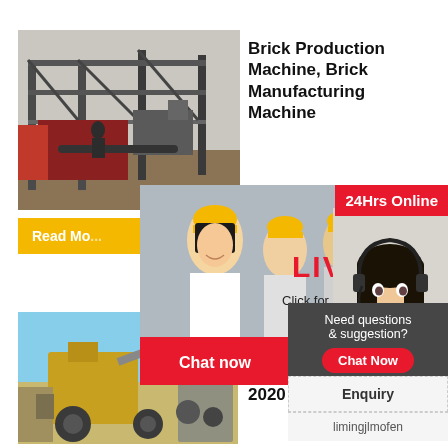[Figure (photo): Industrial brick production machinery on a construction site, large metal frame structure with conveyor parts]
Brick Production Machine, Brick Manufacturing Machine
[Figure (photo): Live chat popup with construction workers wearing yellow helmets and a female customer service agent with headset. Contains LIVE CHAT text, Click for a Free Consultation subtitle, Chat now and Chat later buttons.]
Read Mo...
24Hrs Online
Need questions & suggestion?
Chat Now
Enquiry
limingjlmofen
[Figure (photo): Fully automatic brick manufacturing machinery in outdoor industrial setting with yellow equipment]
Fully Au... Brick M... Machin... 2020 ...